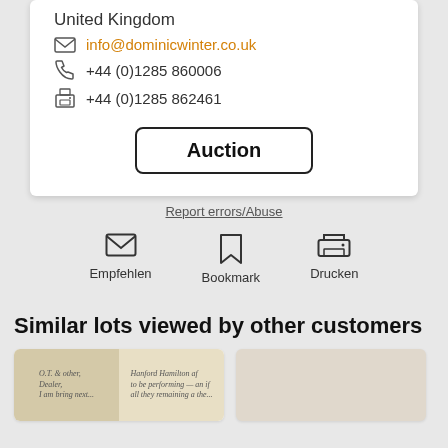United Kingdom
info@dominicwinter.co.uk
+44 (0)1285 860006
+44 (0)1285 862461
Auction
Report errors/Abuse
Empfehlen
Bookmark
Drucken
Similar lots viewed by other customers
[Figure (photo): Two small thumbnail images of handwritten letters side by side]
[Figure (photo): Partial thumbnail of a handwritten document, cut off on right edge]